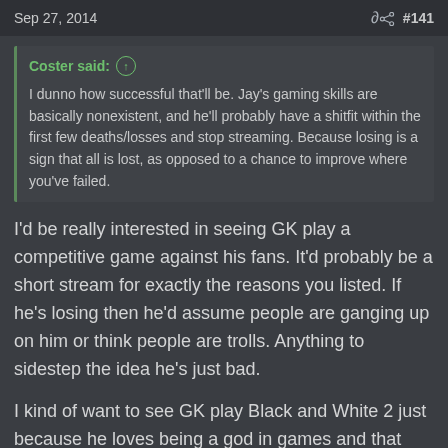Sep 27, 2014 #141
Coster said: ↑
I dunno how successful that'll be. Jay's gaming skills are basically nonexistent, and he'll probably have a shitfit within the first few deaths/losses and stop streaming. Because losing is a sign that all is lost, as opposed to a chance to improve where you've failed.
I'd be really interested in seeing GK play a competitive game against his fans. It'd probably be a short stream for exactly the reasons you listed. If he's losing then he'd assume people are ganging up on him or think people are trolls. Anything to sidestep the idea he's just bad.
I kind of want to see GK play Black and White 2 just because he loves being a god in games and that one allows you to do just that. The interesting thing is the game views any act of war as "evil". It's also generally